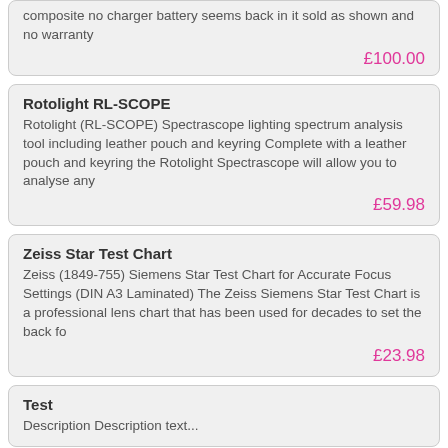composite no charger battery seems back in it sold as shown and no warranty
£100.00
Rotolight RL-SCOPE
Rotolight (RL-SCOPE) Spectrascope lighting spectrum analysis tool including leather pouch and keyring Complete with a leather pouch and keyring the Rotolight Spectrascope will allow you to analyse any
£59.98
Zeiss Star Test Chart
Zeiss (1849-755) Siemens Star Test Chart for Accurate Focus Settings (DIN A3 Laminated) The Zeiss Siemens Star Test Chart is a professional lens chart that has been used for decades to set the back fo
£23.98
Test
Description Description text...